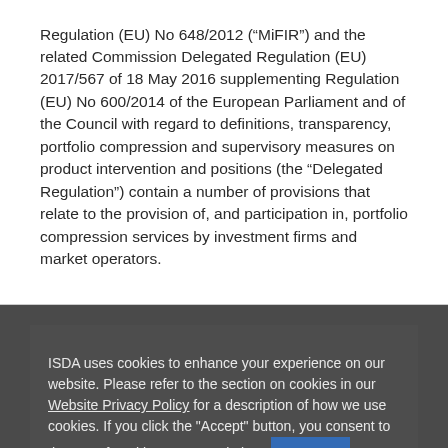Regulation (EU) No 648/2012 (“MiFIR”) and the related Commission Delegated Regulation (EU) 2017/567 of 18 May 2016 supplementing Regulation (EU) No 600/2014 of the European Parliament and of the Council with regard to definitions, transparency, portfolio compression and supervisory measures on product intervention and positions (the “Delegated Regulation”) contain a number of provisions that relate to the provision of, and participation in, portfolio compression services by investment firms and market operators.
From January 3, 2018, investment firms and market operators will need to comply with certain requirements set out in this article 37 of the Delegated Regulation. ISDA’s 2017 Portfolio Compression Agreement is a template for
ISDA uses cookies to enhance your experience on our website. Please refer to the section on cookies in our Website Privacy Policy for a description of how we use cookies. If you click the "Accept" button, you consent to the use of cookies on our website.